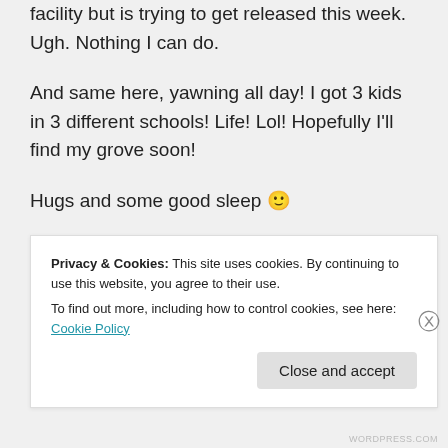facility but is trying to get released this week. Ugh. Nothing I can do.
And same here, yawning all day! I got 3 kids in 3 different schools! Life! Lol! Hopefully I'll find my grove soon!
Hugs and some good sleep 🙂
★ Liked by 1 person
Privacy & Cookies: This site uses cookies. By continuing to use this website, you agree to their use. To find out more, including how to control cookies, see here: Cookie Policy
Close and accept